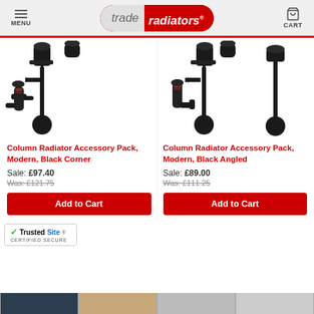trade radiators — MENU | CART
[Figure (photo): Black column radiator accessory pack, corner style, showing valves, brackets and fittings on white background]
[Figure (photo): Black column radiator accessory pack, angled style, showing valves, brackets and fittings on white background]
Column Radiator Accessory Pack, Modern, Black Corner
Sale: £97.40
Was: £121.75
Column Radiator Accessory Pack, Modern, Black Angled
Sale: £89.00
Was: £111.25
[Figure (logo): TrustedSite Certified Secure badge]
CERTIFIED SECURE